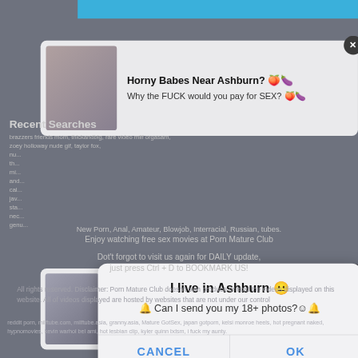[Figure (screenshot): Screenshot of an adult website with browser popup dialogs overlaid. Top popup shows an ad with a photo and text 'Horny Babes Near Ashburn? Why the FUCK would you pay for SEX?'. A second popup shows 'I live in Ashburn' with message 'Can I send you my 18+ photos?' and Cancel/OK buttons. Background shows website content with Recent Searches and footer text.]
Horny Babes Near Ashburn? Why the FUCK would you pay for SEX?
Recent Searches
brazzers friends mom, thickandbig, rare video milf orgasam, zoey holloway nude gif, taylor fox, nur, thr, mi, and, cal, jav, sta, nec, genu
I live in Ashburn 😐
Can I send you my 18+ photos?☺
CANCEL
OK
New Porn, Anal, Amateur, Blowjob, Interracial, Russian, tubes.
Enjoy watching free sex movies at Porn Mature Club
Dot't forgot to visit us again for DAILY update, just press Ctrl + D to BOOKMARK US!
All rights reserved. Disclaimer: Porn Mature Club doesn't own, produce or host the videos displayed on this website. All of videos displayed are hosted by websites that are not under our control
reddit porn, milftube.com, milftube.asia, granny.asia, Mature GotSex, japan gotporn, kelsi monroe heels, hot pregnant naked, hypnomovies, kevin warhol bel ami, hot lesbian clip, kyler quinn bdsm, i fuck my aunty.